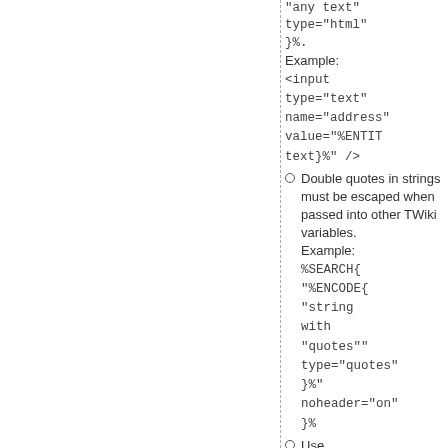"any text" type="html" }%. Example: <input type="text" name="address" value="%ENTITY text}%" />
Double quotes in strings must be escaped when passed into other TWiki variables. Example: %SEARCH{ "%ENCODE{ "string with "quotes"" type="quotes" }%" noheader="on" }%
Use